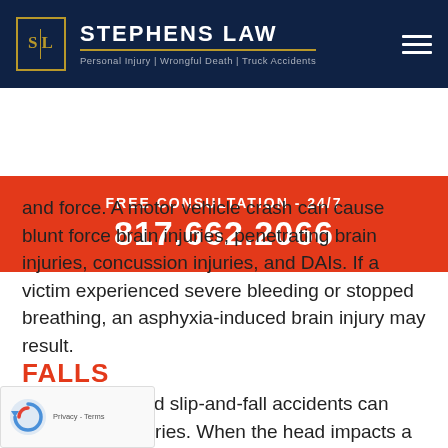STEPHENS LAW | Personal Injury | Wrongful Death | Truck Accidents
FREE CONSULTATION - 24/7
817.662.2066
and force. A motor vehicle crash can cause blunt force brain injuries, penetrating brain injuries, concussion injuries, and DAIs. If a victim experienced severe bleeding or stopped breathing, an asphyxia-induced brain injury may result.
FALLS
rom a height and slip-and-fall accidents can cause brain injuries. When the head impacts a